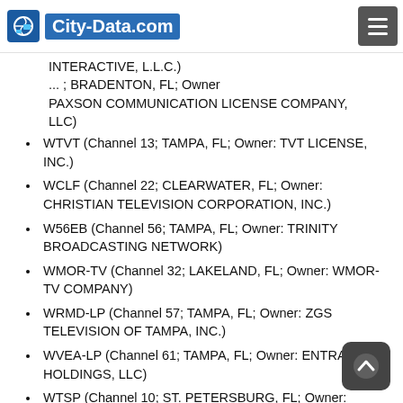City-Data.com
INTERACTIVE, L.L.C.) ... BRADENTON, FL; Owner PAXSON COMMUNICATION LICENSE COMPANY, LLC)
WTVT (Channel 13; TAMPA, FL; Owner: TVT LICENSE, INC.)
WCLF (Channel 22; CLEARWATER, FL; Owner: CHRISTIAN TELEVISION CORPORATION, INC.)
W56EB (Channel 56; TAMPA, FL; Owner: TRINITY BROADCASTING NETWORK)
WMOR-TV (Channel 32; LAKELAND, FL; Owner: WMOR-TV COMPANY)
WRMD-LP (Channel 57; TAMPA, FL; Owner: ZGS TELEVISION OF TAMPA, INC.)
WVEA-LP (Channel 61; TAMPA, FL; Owner: ENTRAVISION HOLDINGS, LLC)
WTSP (Channel 10; ST. PETERSBURG, FL; Owner: PACIFIC AND SOUTHERN COMPANY, INC.
WWSB (Channel 40; SARASOTA, FL; Owner: SOUTHERN BROADCAST CORPORATION OF